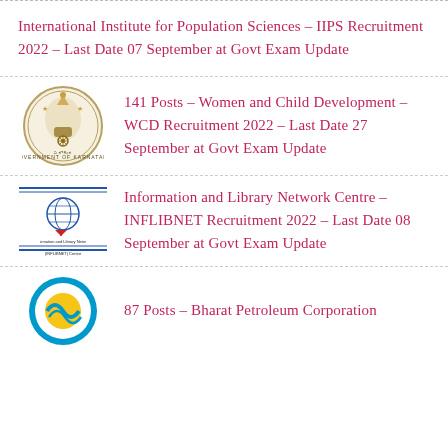International Institute for Population Sciences – IIPS Recruitment 2022 – Last Date 07 September at Govt Exam Update
[Figure (logo): Government of Karnataka emblem/seal]
141 Posts – Women and Child Development – WCD Recruitment 2022 – Last Date 27 September at Govt Exam Update
[Figure (logo): INFLIBNET - Information and Library Network Centre logo]
Information and Library Network Centre – INFLIBNET Recruitment 2022 – Last Date 08 September at Govt Exam Update
[Figure (logo): Bharat Petroleum Corporation logo (BPCL) - blue and yellow circle]
87 Posts – Bharat Petroleum Corporation